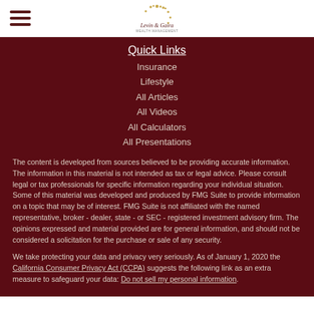Levin & Gaira logo and hamburger menu
Quick Links
Insurance
Lifestyle
All Articles
All Videos
All Calculators
All Presentations
The content is developed from sources believed to be providing accurate information. The information in this material is not intended as tax or legal advice. Please consult legal or tax professionals for specific information regarding your individual situation. Some of this material was developed and produced by FMG Suite to provide information on a topic that may be of interest. FMG Suite is not affiliated with the named representative, broker - dealer, state - or SEC - registered investment advisory firm. The opinions expressed and material provided are for general information, and should not be considered a solicitation for the purchase or sale of any security.
We take protecting your data and privacy very seriously. As of January 1, 2020 the California Consumer Privacy Act (CCPA) suggests the following link as an extra measure to safeguard your data: Do not sell my personal information.